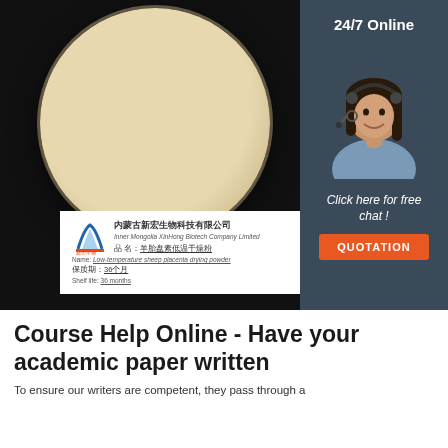[Figure (photo): Product photo showing a glass petri dish containing off-white/cream colored powder (low-temperature sheep placenta drying powder) on a black background, with a white product label card in front showing Chinese and English text: company name Inner Mongolia XinHong Biotech Company Limited, product name, and shelf life 36 months. Overlaid on the right side is a customer service panel with a woman wearing a headset, '24/7 Online' text, 'Click here for free chat!' text, and an orange QUOTATION button.]
Course Help Online - Have your academic paper written
To ensure our writers are competent, they pass through a